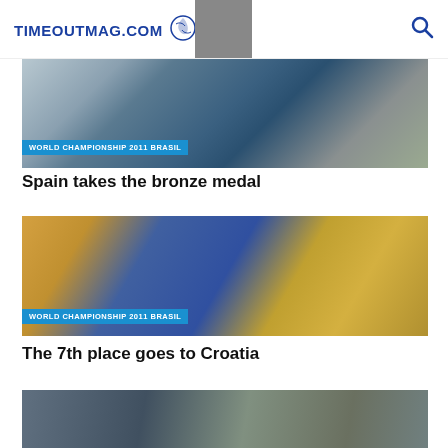TIMEOUTMAG.COM
[Figure (photo): Handball match photo from World Championship 2011 Brasil. Players near goal net. Badge reads WORLD CHAMPIONSHIP 2011 BRASIL.]
Spain takes the bronze medal
[Figure (photo): Handball match photo from World Championship 2011 Brasil. Players jumping for ball on court. Badge reads WORLD CHAMPIONSHIP 2011 BRASIL.]
The 7th place goes to Croatia
[Figure (photo): Handball players celebrating on court, partially visible.]